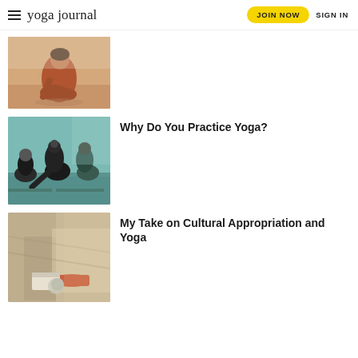yoga journal | JOIN NOW | SIGN IN
[Figure (photo): Person in rust/orange yoga outfit sitting in a kneeling yoga pose on a wooden floor]
[Figure (photo): Group of people in a yoga class performing a forward bend pose on yoga mats in a bright studio]
Why Do You Practice Yoga?
[Figure (photo): Yoga props including blocks and a mat on a sunlit floor with shadows]
My Take on Cultural Appropriation and Yoga